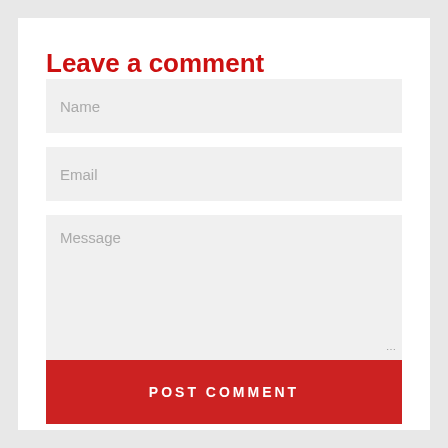Leave a comment
[Figure (screenshot): A comment form with Name input field, Email input field, Message textarea, and a POST COMMENT button in red.]